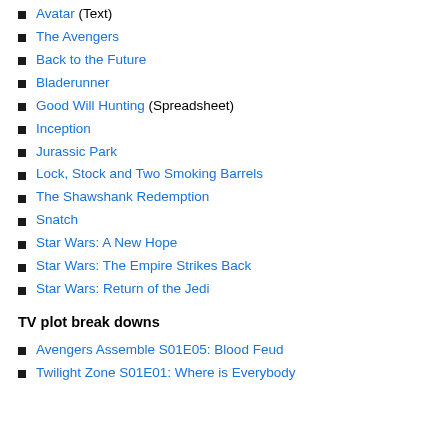Avatar (Text)
The Avengers
Back to the Future
Bladerunner
Good Will Hunting (Spreadsheet)
Inception
Jurassic Park
Lock, Stock and Two Smoking Barrels
The Shawshank Redemption
Snatch
Star Wars: A New Hope
Star Wars: The Empire Strikes Back
Star Wars: Return of the Jedi
TV plot break downs
Avengers Assemble S01E05: Blood Feud
Twilight Zone S01E01: Where is Everybody